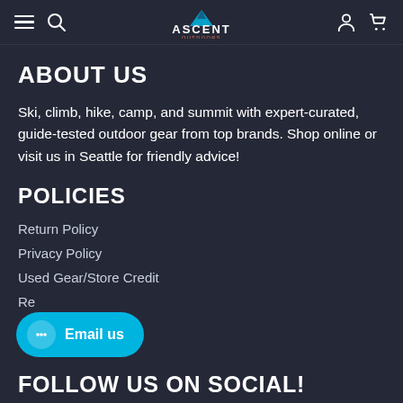Navigation bar with hamburger menu, search icon, Ascent Outdoors logo, user icon, and cart icon
ABOUT US
Ski, climb, hike, camp, and summit with expert-curated, guide-tested outdoor gear from top brands. Shop online or visit us in Seattle for friendly advice!
POLICIES
Return Policy
Privacy Policy
Used Gear/Store Credit
Re...
[Figure (other): Email us chat button widget with speech bubble icon and cyan pill-shaped button]
FOLLOW US ON SOCIAL!